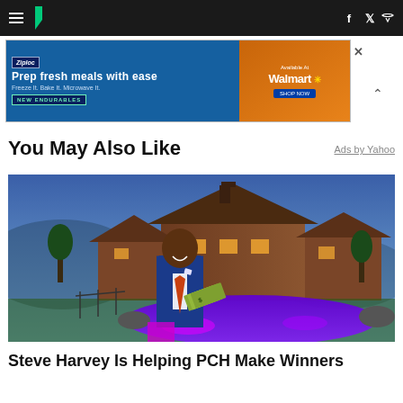HuffPost navigation bar with hamburger menu, logo, Facebook and Twitter icons
[Figure (other): Ziploc advertisement banner: Prep fresh meals with ease - Freeze It. Bake It. Microwave It. NEW ENDURABLES - Available At Walmart]
You May Also Like
Ads by Yahoo
[Figure (photo): Steve Harvey in blue suit holding fan of money bills, standing in front of a luxury log cabin home with illuminated purple pool at dusk]
Steve Harvey Is Helping PCH Make Winners